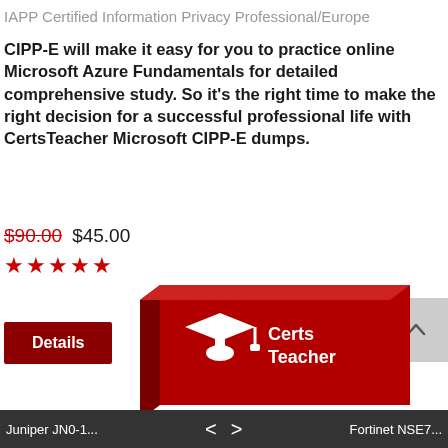IAPP Certified Information Privacy Professional/Europe
CIPP-E will make it easy for you to practice online Microsoft Azure Fundamentals for detailed comprehensive study. So it's the right time to make the right decision for a successful professional life with CertsTeacher Microsoft CIPP-E dumps.
$90.00 $45.00
[Figure (other): Five red star rating]
Details
Buy Now
[Figure (illustration): Red product box with CertsTeacher logo — a white graduation cap icon with 'Certs Teacher' text on the box]
Juniper JN0-1...   <   >   Fortinet NSE7...